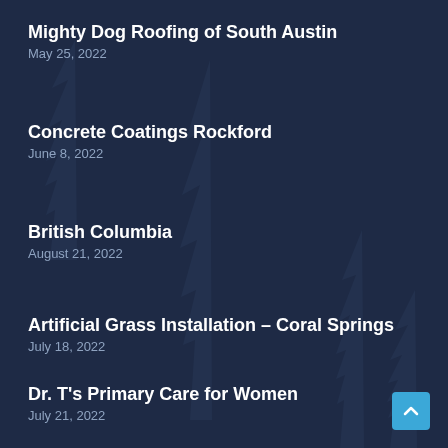Mighty Dog Roofing of South Austin
May 25, 2022
Concrete Coatings Rockford
June 8, 2022
British Columbia
August 21, 2022
Artificial Grass Installation – Coral Springs
July 18, 2022
Dr. T's Primary Care for Women
July 21, 2022